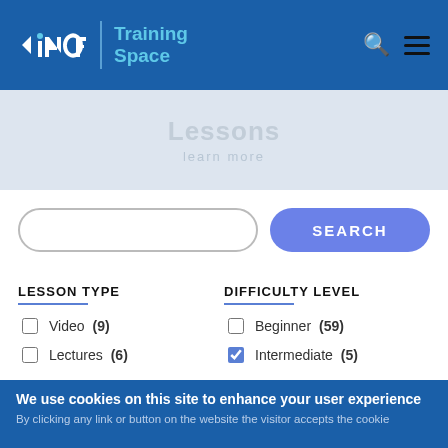[Figure (logo): INCF Training Space logo with search and menu icons on a blue header bar]
Lessons
learn more
SEARCH (button)
LESSON TYPE
Video (9)
Lectures (6)
DIFFICULTY LEVEL
Beginner (59)
Intermediate (5)
We use cookies on this site to enhance your user experience
By clicking any link or button on the website the visitor accepts the cookie